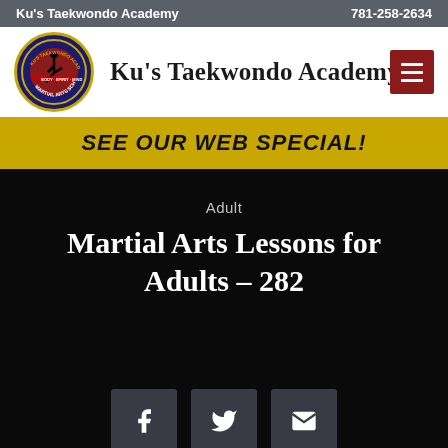Ku's Taekwondo Academy   781-258-2634
[Figure (logo): Ku's Taekwondo Academy circular logo with martial arts imagery in navy blue and gold]
Ku's Taekwondo Academy
SEE OUR WEB SPECIAL!
Adult
Martial Arts Lessons for Adults – 282
[Figure (infographic): Social sharing buttons: Facebook, Twitter, Email]